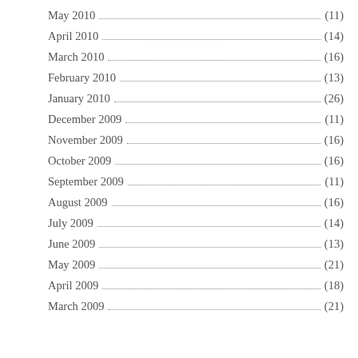May 2010 (11)
April 2010 (14)
March 2010 (16)
February 2010 (13)
January 2010 (26)
December 2009 (11)
November 2009 (16)
October 2009 (16)
September 2009 (11)
August 2009 (16)
July 2009 (14)
June 2009 (13)
May 2009 (21)
April 2009 (18)
March 2009 (21)